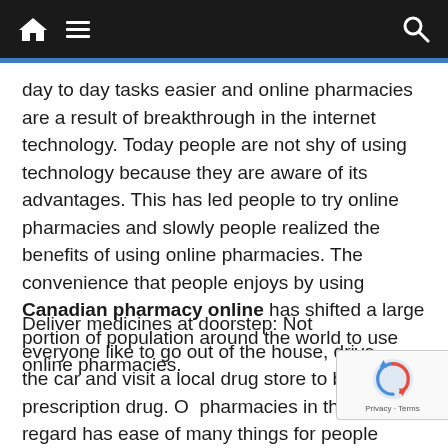Navigation bar with home, menu, and search icons
day to day tasks easier and online pharmacies are a result of breakthrough in the internet technology. Today people are not shy of using technology because they are aware of its advantages. This has led people to try online pharmacies and slowly people realized the benefits of using online pharmacies. The convenience that people enjoys by using Canadian pharmacy online has shifted a large portion of population around the world to use online pharmacies.
Deliver medicines at doorstep: Not everyone like to go out of the house, drive the car and visit a local drug store to buy a prescription drug. Online pharmacies in this regard has ease of many things for people because they necessitate their...